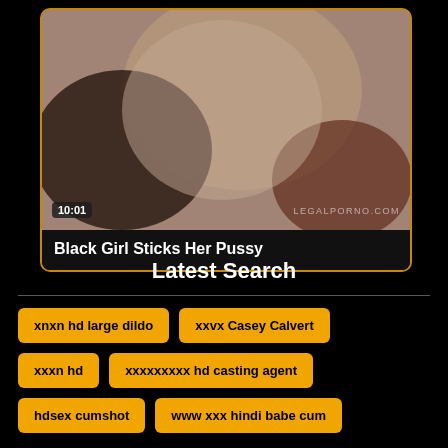[Figure (photo): Video thumbnail showing adult content with timer badge '10:01' and watermark 'LEGALPORNO.COM']
Black Girl Sticks Her Pussy
Latest Search
xnxn hd large dildo
xxvx Casey Calvert
xxxn hd
xxxxxxxxx hd casting agent
hdsex cumshot
www xxx hindi babe cum